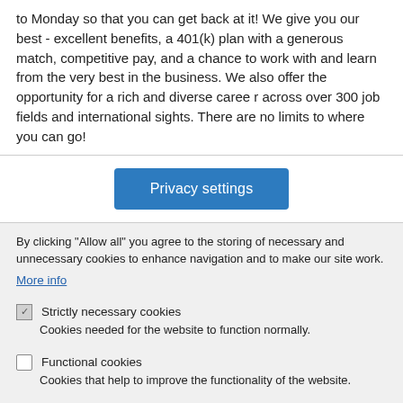to Monday so that you can get back at it!  We give you our best - excellent benefits, a 401(k) plan with a generous match, competitive pay, and a chance to work with and learn from the very best in the business.  We also offer the opportunity for a rich and diverse career across over 300 job fields and international sights. There are no limits to where you can go!
[Figure (other): Privacy settings button — a blue rectangular button with white text reading 'Privacy settings']
By clicking "Allow all" you agree to the storing of necessary and unnecessary cookies to enhance navigation and to make our site work.
More info
Strictly necessary cookies — Cookies needed for the website to function normally.
Functional cookies — Cookies that help to improve the functionality of the website.
Analytic cookies